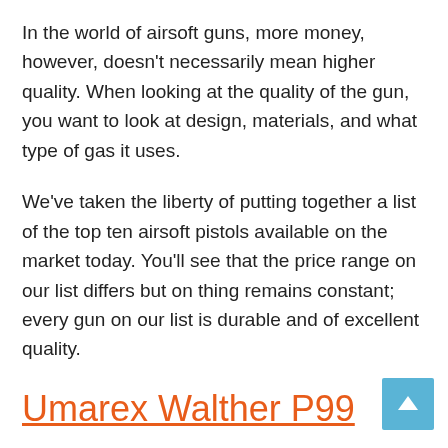In the world of airsoft guns, more money, however, doesn't necessarily mean higher quality. When looking at the quality of the gun, you want to look at design, materials, and what type of gas it uses.
We've taken the liberty of putting together a list of the top ten airsoft pistols available on the market today. You'll see that the price range on our list differs but on thing remains constant; every gun on our list is durable and of excellent quality.
Umarex Walther P99